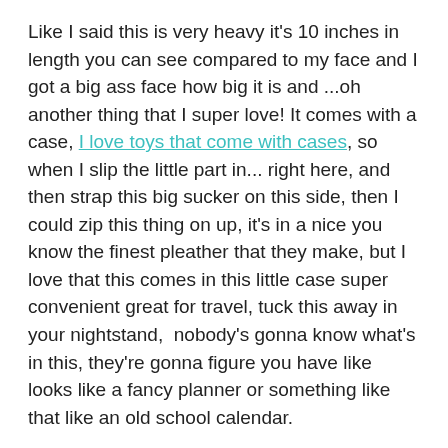Like I said this is very heavy it's 10 inches in length you can see compared to my face and I got a big ass face how big it is and ...oh another thing that I super love! It comes with a case, I love toys that come with cases, so when I slip the little part in... right here, and then strap this big sucker on this side, then I could zip this thing on up, it's in a nice you know the finest pleather that they make, but I love that this comes in this little case super convenient great for travel, tuck this away in your nightstand,  nobody's gonna know what's in this, they're gonna figure you have like looks like a fancy planner or something like that like an old school calendar.
But that this is your Rouge Stainless Steel Metal Wand or dildo however you want to say it and that is the toy of the week let me know what you think if it looks interesting leave me a comment and I will see